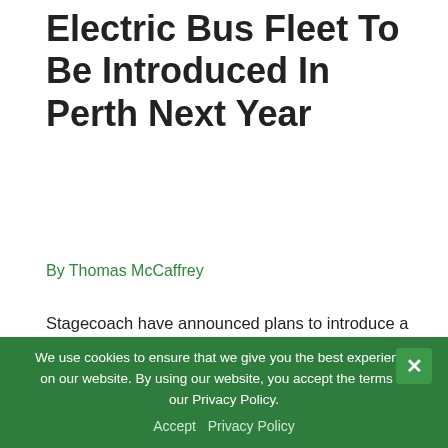Electric Bus Fleet To Be Introduced In Perth Next Year
By Thomas McCaffrey
Stagecoach have announced plans to introduce a fully electric fleet of buses in Perth, from the early part of next year, as they aim to have a net zero UK bus fleet by 2035. In Perth there will be 13 new electric buses introduced adding to the nine zero emission busses already operating in the ...
We use cookies to ensure that we give you the best experience on our website. By using our website, you accept the terms of our Privacy Policy.
Accept   Privacy Policy